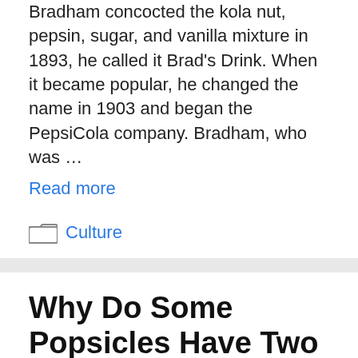Bradham concocted the kola nut, pepsin, sugar, and vanilla mixture in 1893, he called it Brad's Drink. When it became popular, he changed the name in 1903 and began the PepsiCola company. Bradham, who was …
Read more
Culture
Why Do Some Popsicles Have Two Sticks and When Was the Double Stick Popsicle Introduced?
March 5, 2022 by Karen Hill